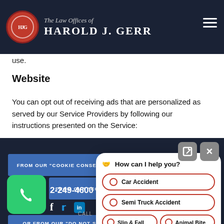The Law Offices of Harold J. Gerr
use.
Website
You can opt out of receiving ads that are personalized as served by our Service Providers by following our instructions presented on the Service:
FROM OUR “COOKIE CONSENT” NOTICE BANNER
FROM OUR “CCPA” NOTICE BANNER
2-249-4600
OR FROM OUR ”DO NOT SELL MY PERSONAL INFORMATION”
[Figure (screenshot): Chat popup widget with options: Car Accident, Semi Truck Accident, Slip & Fall, Animal Bite, and Scroll button]